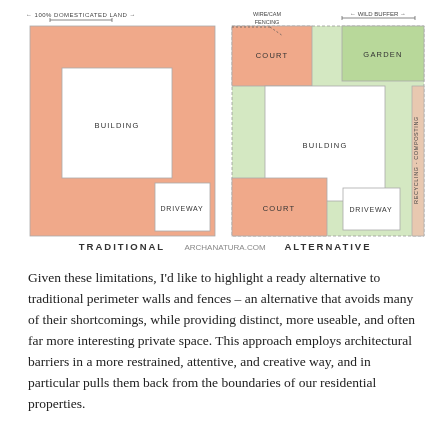[Figure (infographic): Two architectural site plan diagrams side by side labeled TRADITIONAL and ALTERNATIVE. Traditional shows a large salmon/orange square with a white BUILDING rectangle inside, a DRIVEWAY area lower right, labeled 100% DOMESTICATED LAND. Alternative shows a green-outlined plot with salmon court areas, a white BUILDING rectangle, DRIVEWAY, COURT areas, a green GARDEN top right, a vertical RECYCLING-COMPOSTING strip on right, with labels WILD BUFFER, WIRE/CAM FENCING arrow. Website label ARCHANATURA.COM in the center bottom.]
Given these limitations, I'd like to highlight a ready alternative to traditional perimeter walls and fences – an alternative that avoids many of their shortcomings, while providing distinct, more useable, and often far more interesting private space. This approach employs architectural barriers in a more restrained, attentive, and creative way, and in particular pulls them back from the boundaries of our residential properties.